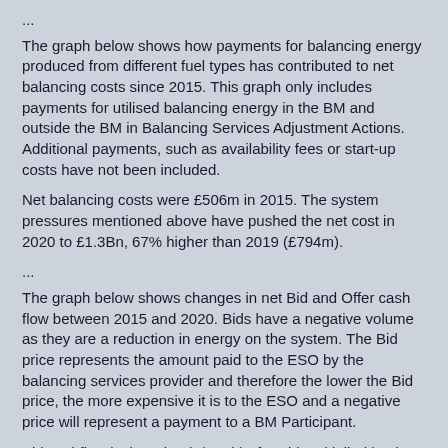...
The graph below shows how payments for balancing energy produced from different fuel types has contributed to net balancing costs since 2015. This graph only includes payments for utilised balancing energy in the BM and outside the BM in Balancing Services Adjustment Actions. Additional payments, such as availability fees or start-up costs have not been included.
Net balancing costs were £506m in 2015. The system pressures mentioned above have pushed the net cost in 2020 to £1.3Bn, 67% higher than 2019 (£794m).
...
The graph below shows changes in net Bid and Offer cash flow between 2015 and 2020. Bids have a negative volume as they are a reduction in energy on the system. The Bid price represents the amount paid to the ESO by the balancing services provider and therefore the lower the Bid price, the more expensive it is to the ESO and a negative price will represent a payment to a BM Participant.
Bid cashflow is the price (£/MWh) of a Bid multiplied by the volume of the Bid (MWh). A net positive Bid cashflow across a year means more money was paid to Balancing Service providers for negatively priced